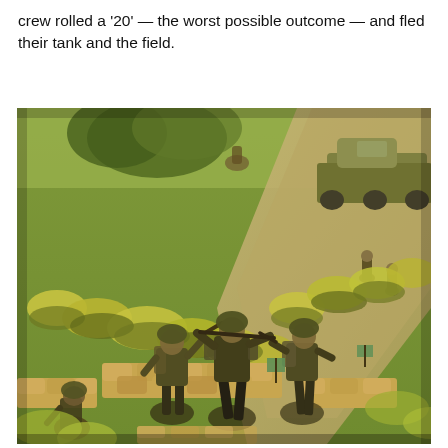crew rolled a '20' — the worst possible outcome — and fled their tank and the field.
[Figure (photo): A wargaming tabletop scene showing painted miniature soldiers positioned behind sandbag barriers and hedgerow terrain on a green grass mat. In the background, a military vehicle (half-track or armored car) is visible on the right side. Yellow-green lichen shrubs line a dirt road running diagonally. The foreground features several infantry miniature figures in combat poses.]